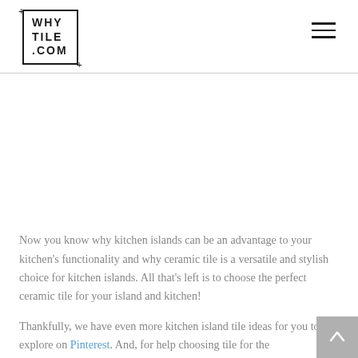WHYTILE.COM
Now you know why kitchen islands can be an advantage to your kitchen's functionality and why ceramic tile is a versatile and stylish choice for kitchen islands. All that's left is to choose the perfect ceramic tile for your island and kitchen!
Thankfully, we have even more kitchen island tile ideas for you to explore on Pinterest. And, for help choosing tile for the